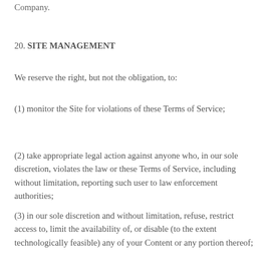Company.
20. SITE MANAGEMENT
We reserve the right, but not the obligation, to:
(1) monitor the Site for violations of these Terms of Service;
(2) take appropriate legal action against anyone who, in our sole discretion, violates the law or these Terms of Service, including without limitation, reporting such user to law enforcement authorities;
(3) in our sole discretion and without limitation, refuse, restrict access to, limit the availability of, or disable (to the extent technologically feasible) any of your Content or any portion thereof;
(4) in our sole discretion and without limitation, notice